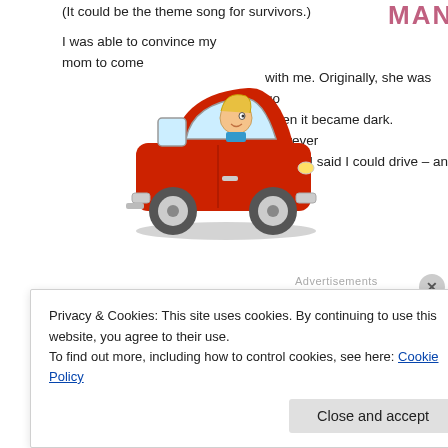(It could be the theme song for survivors.)
I was able to convince my mom to come with me. Originally, she was go when it became dark. However, venue, I said I could drive – an
[Figure (illustration): Cartoon illustration of a woman with blonde hair driving a red car, seen from the side. The car is a small red compact vehicle.]
Advertisements
Privacy & Cookies: This site uses cookies. By continuing to use this website, you agree to their use.
To find out more, including how to control cookies, see here: Cookie Policy
Close and accept